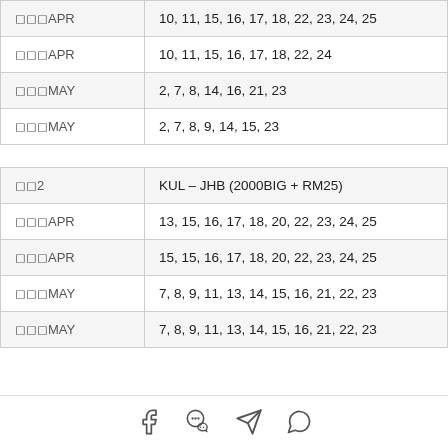| □□□APR | 10, 11, 15, 16, 17, 18, 22, 23, 24, 25 |
| □□□APR | 10, 11, 15, 16, 17, 18, 22, 24 |
| □□□MAY | 2, 7, 8, 14, 16, 21, 23 |
| □□□MAY | 2, 7, 8, 9, 14, 15, 23 |
| □□2 | KUL – JHB (2000BIG + RM25) |
| □□□APR | 13, 15, 16, 17, 18, 20, 22, 23, 24, 25 |
| □□□APR | 15, 15, 16, 17, 18, 20, 22, 23, 24, 25 |
| □□□MAY | 7, 8, 9, 11, 13, 14, 15, 16, 21, 22, 23 |
| □□□MAY | 7, 8, 9, 11, 13, 14, 15, 16, 21, 22, 23 |
[Figure (other): Social media share icons: Facebook, WeChat, Telegram, WhatsApp]